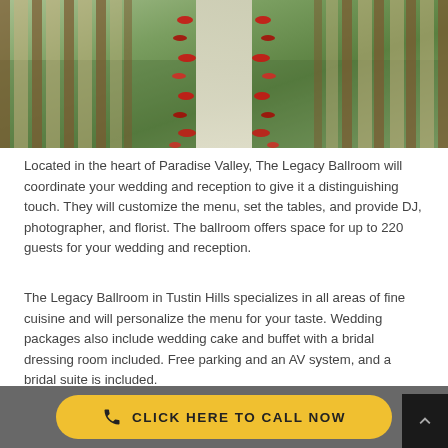[Figure (photo): Outdoor wedding aisle setup with rows of wooden chiavari chairs on green grass, a white runner down the center aisle, and red rose petals scattered along both sides of the aisle.]
Located in the heart of Paradise Valley, The Legacy Ballroom will coordinate your wedding and reception to give it a distinguishing touch. They will customize the menu, set the tables, and provide DJ, photographer, and florist. The ballroom offers space for up to 220 guests for your wedding and reception.
The Legacy Ballroom in Tustin Hills specializes in all areas of fine cuisine and will personalize the menu for your taste. Wedding packages also include wedding cake and buffet with a bridal dressing room included. Free parking and an AV system, and a bridal suite is included.
CLICK HERE TO CALL NOW